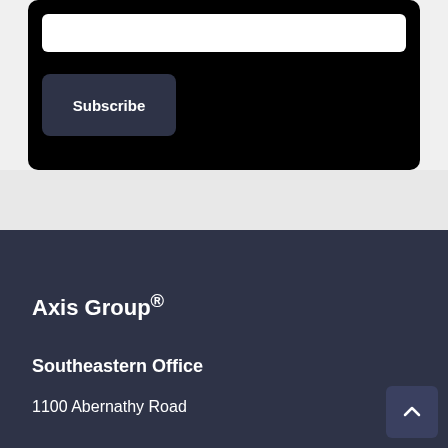[Figure (screenshot): Black card UI element with white input field and Subscribe button on a light gray background]
Subscribe
Axis Group®
Southeastern Office
1100 Abernathy Road